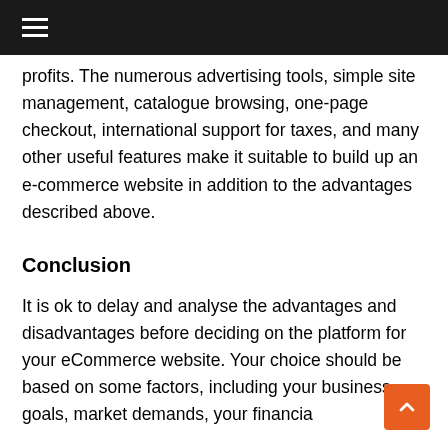≡
profits. The numerous advertising tools, simple site management, catalogue browsing, one-page checkout, international support for taxes, and many other useful features make it suitable to build up an e-commerce website in addition to the advantages described above.
Conclusion
It is ok to delay and analyse the advantages and disadvantages before deciding on the platform for your eCommerce website. Your choice should be based on some factors, including your business goals, market demands, your financial situation...